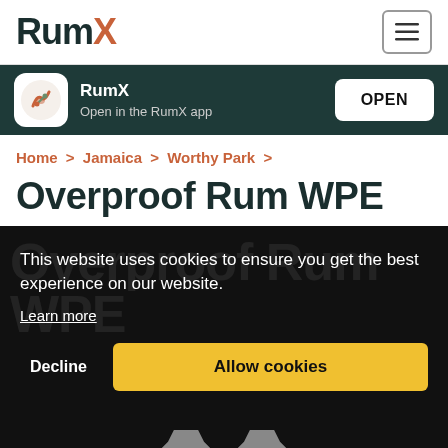RumX
RumX
Open in the RumX app
OPEN
Home > Jamaica > Worthy Park >
Overproof Rum WPE
This website uses cookies to ensure you get the best experience on our website.
Learn more
Decline
Allow cookies